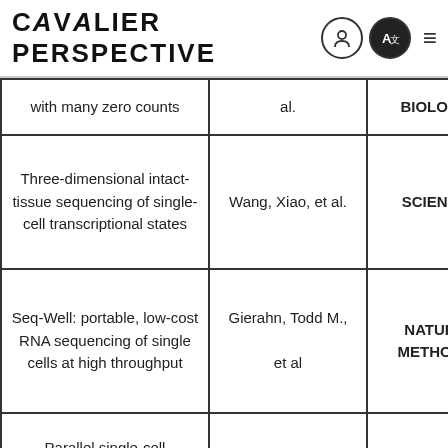CAVALIER PERSPECTIVE
| Title | Authors | Journal |
| --- | --- | --- |
| with many zero counts | al. | BIOLOGY |
| Three-dimensional intact-tissue sequencing of single-cell transcriptional states | Wang, Xiao, et al. | SCIENCE |
| Seq-Well: portable, low-cost RNA sequencing of single cells at high throughput | Gierahn, Todd M., et al | NATURE METHODS |
| Parallel single-cell sequencing links |  |  |